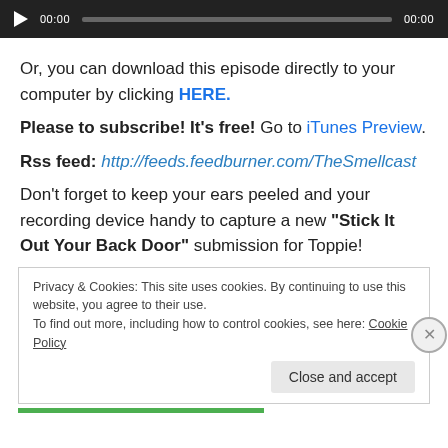[Figure (other): Audio player bar with play button, timestamp 00:00, progress bar, and end time 00:00 on dark background]
Or, you can download this episode directly to your computer by clicking HERE.
Please to subscribe! It's free! Go to iTunes Preview.
Rss feed: http://feeds.feedburner.com/TheSmellcast
Don't forget to keep your ears peeled and your recording device handy to capture a new "Stick It Out Your Back Door" submission for Toppie!
Privacy & Cookies: This site uses cookies. By continuing to use this website, you agree to their use. To find out more, including how to control cookies, see here: Cookie Policy. Close and accept.